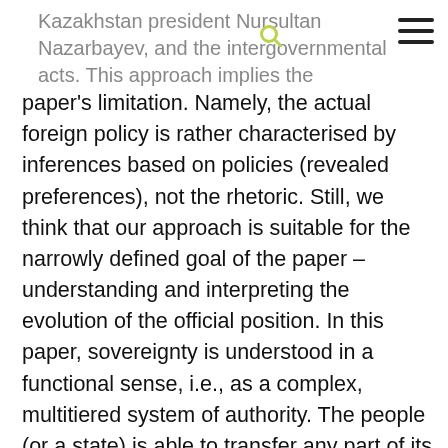Kazakhstan president Nursultan Nazarbayev, and the intergovernmental acts. This approach implies the
paper's limitation. Namely, the actual foreign policy is rather characterised by inferences based on policies (revealed preferences), not the rhetoric. Still, we think that our approach is suitable for the narrowly defined goal of the paper – understanding and interpreting the evolution of the official position. In this paper, sovereignty is understood in a functional sense, i.e., as a complex, multitiered system of authority. The people (or a state) is able to transfer any part of its sovereignty to supranational bodies at its discretion, yet remain a sovereign state. For example, in the EU, in accordance with the principle of subsidiarity, supranational bodies are vested with certain sovereign powers, which they need to perform their functions, but no more than that. It is important in the context of this paper that, unlike many Russian